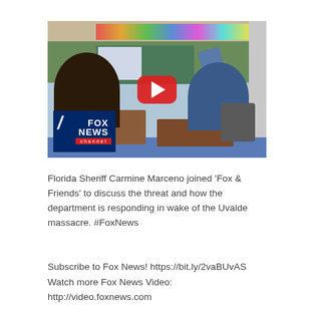[Figure (screenshot): YouTube video thumbnail showing a classroom scene with students at desks, one student raising their hand, a chalkboard and screen at the front, colorful wall decorations. A large red YouTube play button is overlaid in the center. Fox News channel logo is in the bottom left corner.]
Florida Sheriff Carmine Marceno joined ‘Fox & Friends’ to discuss the threat and how the department is responding in wake of the Uvalde massacre. #FoxNews
Subscribe to Fox News! https://bit.ly/2vaBUvAS
Watch more Fox News Video: http://video.foxnews.com